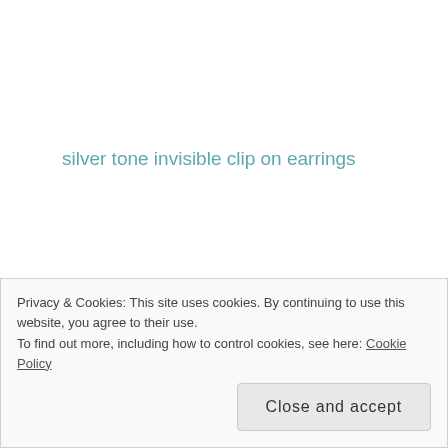silver tone invisible clip on earrings
If you don't know about invisible clip on earrings, I would like to explain. Invisible clip on earrings are made from resin and soft. So when you wear them
Privacy & Cookies: This site uses cookies. By continuing to use this website, you agree to their use.
To find out more, including how to control cookies, see here: Cookie Policy
Close and accept